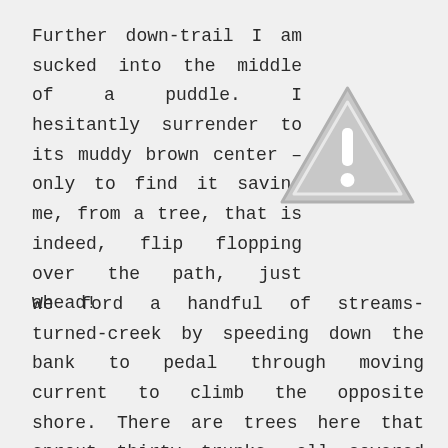Further down-trail I am sucked into the middle of a puddle. I hesitantly surrender to its muddy brown center – only to find it saving me, from a tree, that is indeed, flip flopping over the path, just ahead!
[Figure (illustration): A grey warning triangle with an exclamation mark inside, placeholder/missing image icon style]
We ford a handful of streams-turned-creek by speeding down the bank to pedal through moving current to climb the opposite shore. There are trees here that sprout thirty trunks, all covered in fleecy bright green moss. Here,